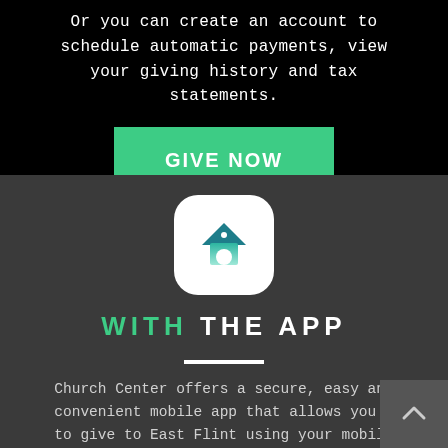Or you can create an account to schedule automatic payments, view your giving history and tax statements.
GIVE NOW
[Figure (logo): Church Center app icon — white rounded square with a teal/green house icon inside]
WITH THE APP
Church Center offers a secure, easy and convenient mobile app that allows you to give to East Flint using your mobile